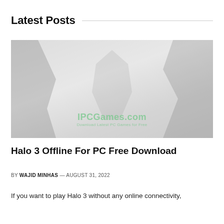Latest Posts
[Figure (photo): Faded/washed-out screenshot or promotional image for Halo 3, showing dark silhouetted figures against a light grey background, with 'IPCGames.com' and 'Download Latest PC Games for Free' watermark overlay.]
Halo 3 Offline For PC Free Download
BY WAJID MINHAS — AUGUST 31, 2022
If you want to play Halo 3 without any online connectivity,